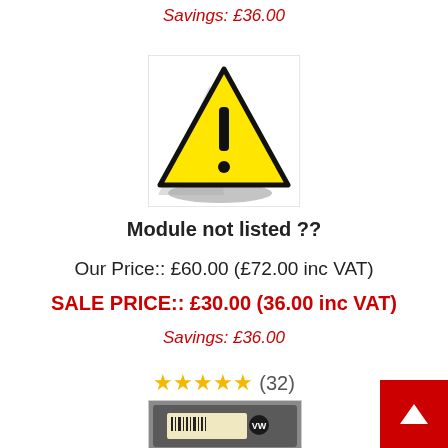Savings: £36.00
[Figure (illustration): Yellow warning triangle sign with black exclamation mark on white background with shadow]
Module not listed ??
Our Price:: £60.00 (£72.00 inc VAT)
SALE PRICE:: £30.00 (36.00 inc VAT)
Savings: £36.00
★★★★★ (32)
[Figure (photo): Electronic module/ECU with VW label and barcode sticker, partially visible at bottom of page]
[Figure (illustration): Red back-to-top button with white chevron arrow in bottom right corner]